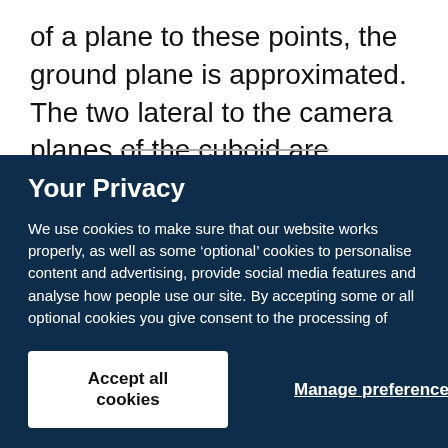of a plane to these points, the ground plane is approximated. The two lateral to the camera planes of the cuboid are perpendicular to the camera axis
Your Privacy
We use cookies to make sure that our website works properly, as well as some ‘optional’ cookies to personalise content and advertising, provide social media features and analyse how people use our site. By accepting some or all optional cookies you give consent to the processing of your personal data, including transfer to third parties, some in countries outside of the European Economic Area that do not offer the same data protection standards as the country where you live. You can decide which optional cookies to accept by clicking on ‘Manage Settings’, where you can also find more information about how your personal data is processed. Further information can be found in our privacy policy.
Accept all cookies
Manage preferences